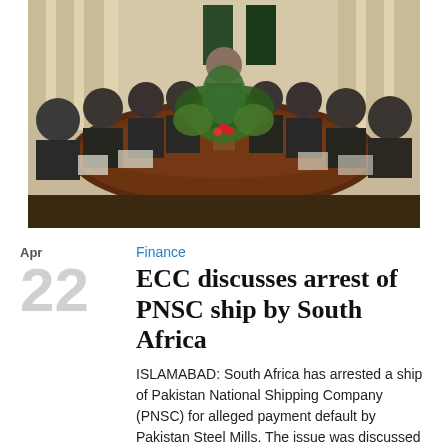[Figure (photo): A formal meeting room with many officials seated around a long conference table. A large plant is in the center of the table. Pakistani flags are visible in the background.]
Finance
ECC discusses arrest of PNSC ship by South Africa
ISLAMABAD: South Africa has arrested a ship of Pakistan National Shipping Company (PNSC) for alleged payment default by Pakistan Steel Mills. The issue was discussed at the Economic